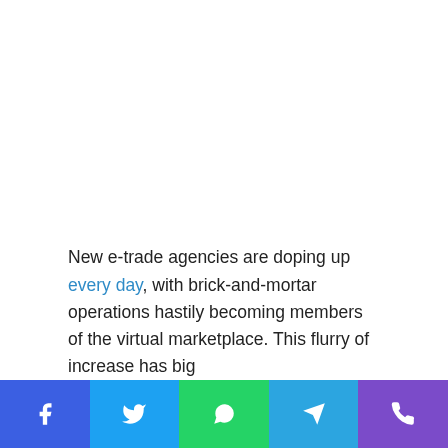New e-trade agencies are doping up every day, with brick-and-mortar operations hastily becoming members of the virtual marketplace. This flurry of increase has big
[Figure (other): Social sharing bar with five buttons: Facebook (blue), Twitter (light blue), WhatsApp (green), Telegram (blue), Phone/Viber (purple)]